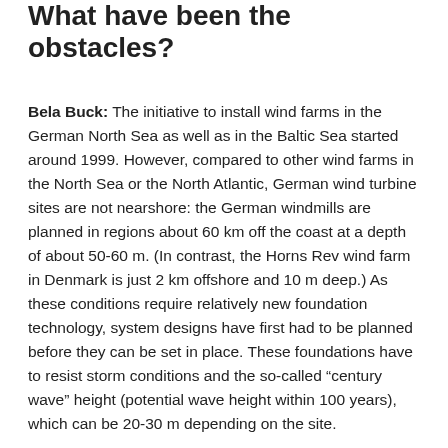What have been the obstacles?
Bela Buck: The initiative to install wind farms in the German North Sea as well as in the Baltic Sea started around 1999. However, compared to other wind farms in the North Sea or the North Atlantic, German wind turbine sites are not nearshore: the German windmills are planned in regions about 60 km off the coast at a depth of about 50-60 m. (In contrast, the Horns Rev wind farm in Denmark is just 2 km offshore and 10 m deep.) As these conditions require relatively new foundation technology, system designs have first had to be planned before they can be set in place. These foundations have to resist storm conditions and the so-called “century wave” height (potential wave height within 100 years), which can be 20-30 m depending on the site.